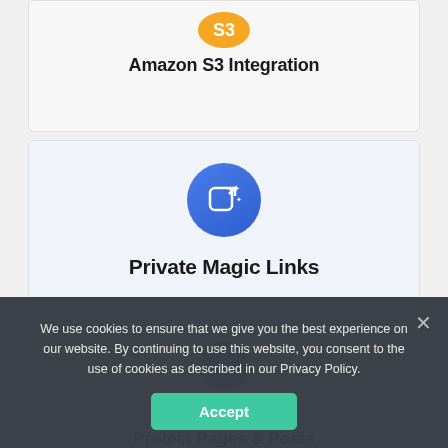[Figure (logo): Amazon S3 icon - yellow circle with S3 text]
Amazon S3 Integration
[Figure (logo): Blue circle icon with magic wand and sparkles]
Private Magic Links
[Figure (logo): Dark blue-grey circle icon partially visible]
Protect Pages & Posts
We use cookies to ensure that we give you the best experience on our website. By continuing to use this website, you consent to the use of cookies as described in our Privacy Policy.